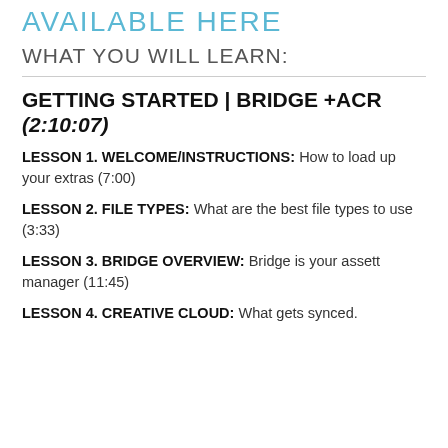AVAILABLE HERE
WHAT YOU WILL LEARN:
GETTING STARTED | BRIDGE +ACR (2:10:07)
LESSON 1. WELCOME/INSTRUCTIONS: How to load up your extras (7:00)
LESSON 2. FILE TYPES: What are the best file types to use (3:33)
LESSON 3. BRIDGE OVERVIEW: Bridge is your assett manager (11:45)
LESSON 4. CREATIVE CLOUD: What gets synced.